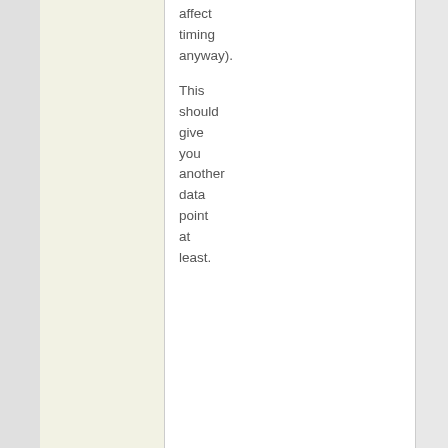affect timing anyway). This should give you another data point at least.
FSK January 26, 2014 at 11:09 pm
Really? 60 seconds